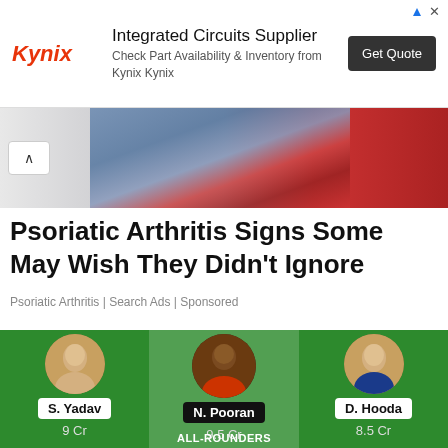[Figure (screenshot): Kynix Integrated Circuits Supplier advertisement banner with logo, text, and Get Quote button]
[Figure (photo): Medical/health advertisement strip showing lower torso in jeans with reddish pain highlight area]
Psoriatic Arthritis Signs Some May Wish They Didn't Ignore
Psoriatic Arthritis | Search Ads | Sponsored
[Figure (screenshot): Fantasy cricket widget on green background showing three players: S. Yadav (9 Cr), N. Pooran (9.5 Cr), D. Hooda (8.5 Cr) with ALL-ROUNDERS label]